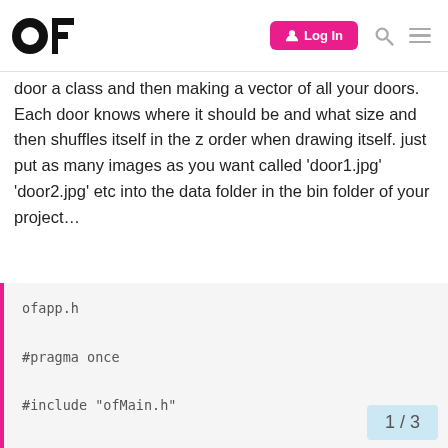OF [logo] | Log In | Search | Menu
door a class and then making a vector of all your doors. Each door knows where it should be and what size and then shuffles itself in the z order when drawing itself. just put as many images as you want called ‘door1.jpg’ ‘door2.jpg’ etc into the data folder in the bin folder of your project…
ofapp.h

#pragma once

#include "ofMain.h"

class door {
public:
    ofImage image;
    float scale;
    float rotation;

    door();
    ~door();
    void draw();
    void update();
1 / 3